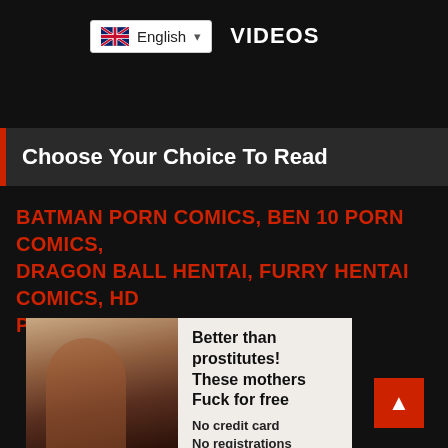English  VIDEOS
Choose Your Choice To Read
BATMAN PORN COMICS, BEN 10 PORN COMICS, DRAGON BALL HENTAI, FURRY HENTAI COMICS, HD PORN COMICS
[Figure (photo): Advertisement banner with photo of a woman and text: Better than prostitutes! These mothers Fuck for free. No credit card No registrations No bullshit]
Better than prostitutes! These mothers Fuck for free
No credit card
No registrations
No bullshit